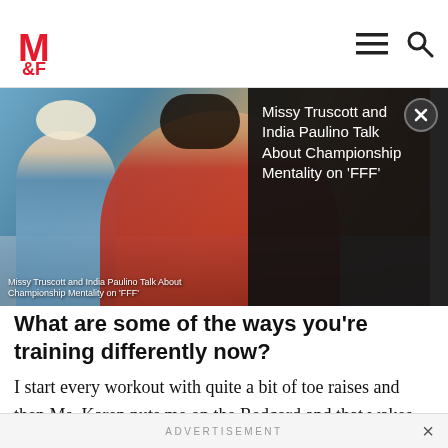M&F (Muscle & Fitness) navigation bar with logo, hamburger menu and search icon
[Figure (screenshot): Video thumbnail showing two women on a couch — Missy Truscott and India Paulino — with caption overlay reading 'Missy Truscott and India Paulino Talk About Championship Mentality on FFF']
Missy Truscott and India Paulino Talk About Championship Mentality on 'FFF'
What are some of the ways you're training differently now?
I start every workout with quite a bit of toe raises and then Ms. Karen puts me on the Redcord and that wakes up my core. She puts me in a lot of positions that helps get deeper down into the core of the muscle, it wakes that up and get them firing. Then I go train
ADVERTISEMENT